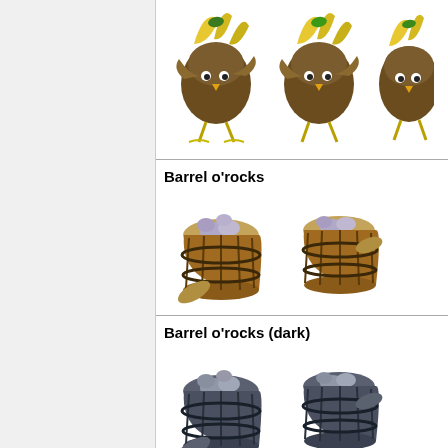[Figure (illustration): Three banana bird creatures (cartoon game sprites) shown at top of page, partially cut off]
Barrel o'rocks
[Figure (illustration): Two wooden barrels filled with grey/lavender rocks, shown from side - game sprites]
Barrel o'rocks (dark)
[Figure (illustration): Two dark/blue-grey wooden barrels filled with grey rocks, shown from side - game sprites]
Barrel o'sugarcane